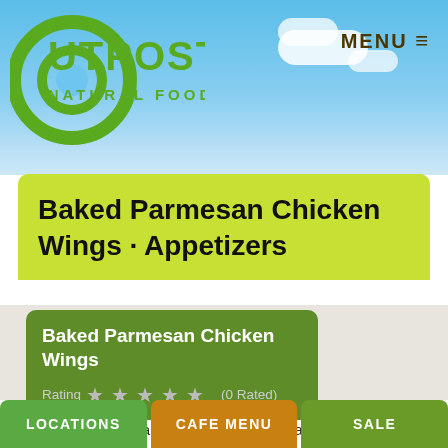[Figure (logo): Outpost Natural Foods logo — green circular O with circle cutout, bold green OUTPOST text, NATURAL FOODS below in smaller green text]
MENU ≡
Baked Parmesan Chicken Wings · Appetizers
Baked Parmesan Chicken Wings
Rating ☆ ☆ ☆ ☆ ☆ (0 Rated)
These wings offer a nice change to the usual hot wings. We like them as is, sans dipping sauce, but if you love a wing dip, we'd recommend a creamy Italian or ranch dressing to complement the flavors of these savory bites.
serves 4
Print
Ingredients
LOCATIONS   CAFE MENU   SALE